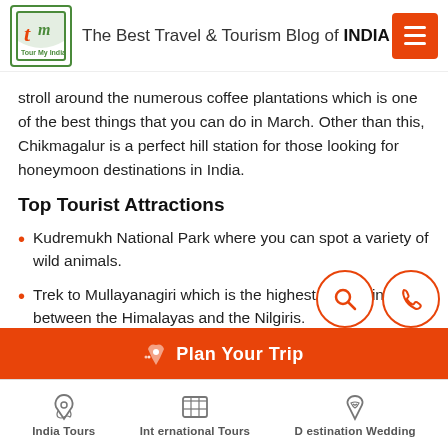The Best Travel & Tourism Blog of INDIA
stroll around the numerous coffee plantations which is one of the best things that you can do in March. Other than this, Chikmagalur is a perfect hill station for those looking for honeymoon destinations in India.
Top Tourist Attractions
Kudremukh National Park where you can spot a variety of wild animals.
Trek to Mullayanagiri which is the highest mountain between the Himalayas and the Nilgiris.
A visit to Hebbe Falls which is yet ano
India Tours | International Tours | Destination Wedding